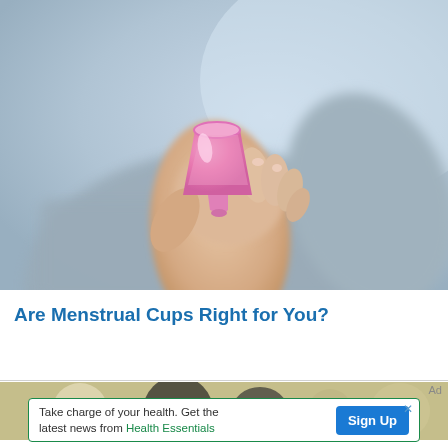[Figure (photo): Person wearing a grey sweater holding up a pink menstrual cup between their fingers against a blurred light blue-grey background]
Are Menstrual Cups Right for You?
[Figure (photo): Partial view of a second article image showing dark and light circular objects on a tan/olive background, partially visible]
Ad
Take charge of your health. Get the latest news from Health Essentials
Sign Up